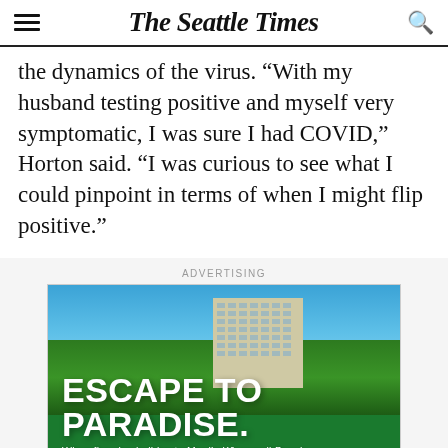The Seattle Times
the dynamics of the virus. “With my husband testing positive and myself very symptomatic, I was sure I had COVID,” Horton said. “I was curious to see what I could pinpoint in terms of when I might flip positive.”
ADVERTISING
[Figure (photo): Advertisement for a sweepstakes to win a five-day holiday to Maui's Kā’anapali Beach. Shows aerial view of a tall hotel building surrounded by tropical trees with ocean in background. Large white text reads 'ESCAPE TO PARADISE.' with subtext 'Win a five-day holiday to Maui’s Kāanapali Beach.' and a pink button reading 'ENTER TO WIN ►']